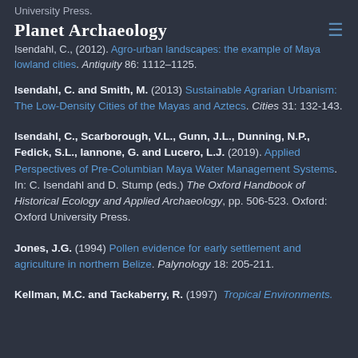University Press.
Planet Archaeology
Isendahl, C., (2012). Agro-urban landscapes: the example of Maya lowland cities. Antiquity 86: 1112–1125.
Isendahl, C. and Smith, M. (2013) Sustainable Agrarian Urbanism: The Low-Density Cities of the Mayas and Aztecs. Cities 31: 132-143.
Isendahl, C., Scarborough, V.L., Gunn, J.L., Dunning, N.P., Fedick, S.L., Iannone, G. and Lucero, L.J. (2019). Applied Perspectives of Pre-Columbian Maya Water Management Systems. In: C. Isendahl and D. Stump (eds.) The Oxford Handbook of Historical Ecology and Applied Archaeology, pp. 506-523. Oxford: Oxford University Press.
Jones, J.G. (1994) Pollen evidence for early settlement and agriculture in northern Belize. Palynology 18: 205-211.
Kellman, M.C. and Tackaberry, R. (1997) Tropical Environments.